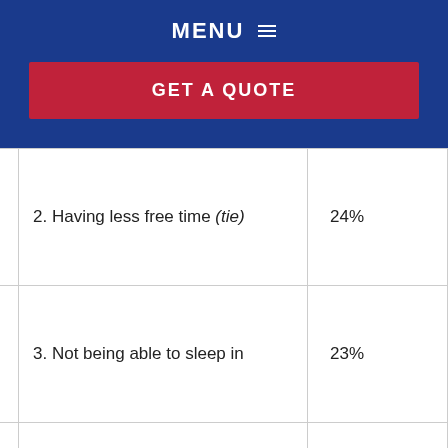MENU
GET A QUOTE
| Item | Percentage |
| --- | --- |
| 2. Having less free time (tie) | 24% |
| 3. Not being able to sleep in | 23% |
| 4. Not being able to spend as much time with my pets | 21% |